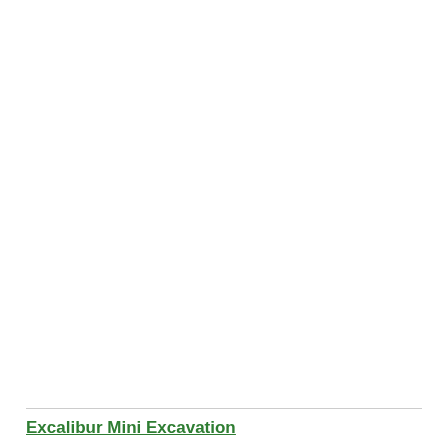[Figure (other): Large blank white image area between two horizontal rules]
Excalibur Mini Excavation